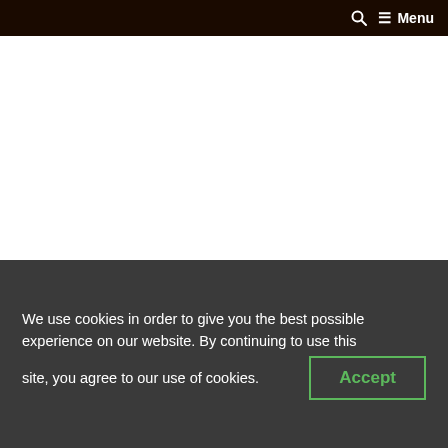🔍  ☰ Menu
MUSIC COMES FIRST!
We use cookies in order to give you the best possible experience on our website. By continuing to use this site, you agree to our use of cookies.
Accept